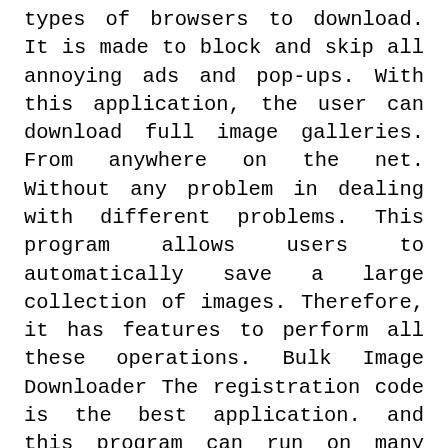types of browsers to download. It is made to block and skip all annoying ads and pop-ups. With this application, the user can download full image galleries. From anywhere on the net. Without any problem in dealing with different problems. This program allows users to automatically save a large collection of images. Therefore, it has features to perform all these operations. Bulk Image Downloader The registration code is the best application. and this program can run on many different sites. In addition, this allows you to extract different text images or PDF files as well. So with this, you can also get images of embedded links.
Bulk Image Downloader 5.97.0.0 License Keys is an efficient and most online application t...